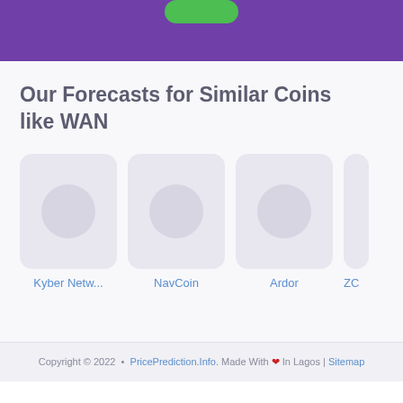[Figure (other): Purple header banner with a green rounded button at top center]
Our Forecasts for Similar Coins like WAN
[Figure (other): Row of four cryptocurrency coin cards: Kyber Netw..., NavCoin, Ardor, ZC (partially visible). Each card has a rounded rectangle background with a circular placeholder icon.]
Copyright © 2022 • PricePrediction.Info. Made With ❤ In Lagos | Sitemap